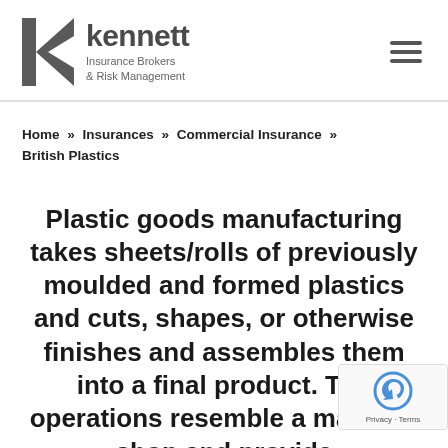[Figure (logo): Kennett Insurance Brokers & Risk Management logo with stylized K mark and company name]
Home » Insurances » Commercial Insurance » British Plastics
Plastic goods manufacturing takes sheets/rolls of previously moulded and formed plastics and cuts, shapes, or otherwise finishes and assembles them into a final product. The operations resemble a machine shop and provide